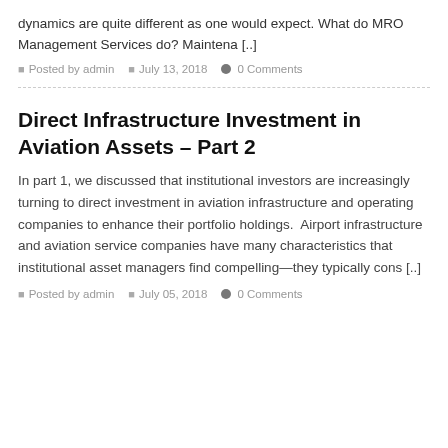dynamics are quite different as one would expect. What do MRO Management Services do? Maintena [..]
Posted by admin   July 13, 2018   0 Comments
Direct Infrastructure Investment in Aviation Assets – Part 2
In part 1, we discussed that institutional investors are increasingly turning to direct investment in aviation infrastructure and operating companies to enhance their portfolio holdings.  Airport infrastructure and aviation service companies have many characteristics that institutional asset managers find compelling—they typically cons [..]
Posted by admin   July 05, 2018   0 Comments